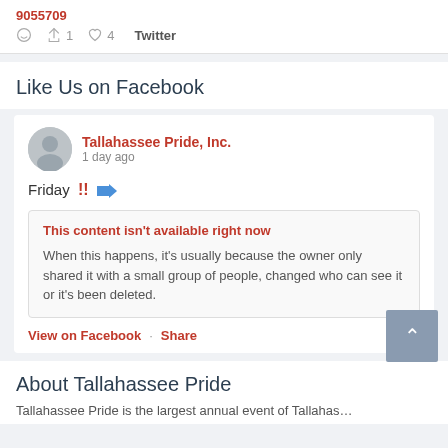9055709
↩ 1  ♡ 4  Twitter
Like Us on Facebook
Tallahassee Pride, Inc.
1 day ago
Friday !! 📢
This content isn't available right now
When this happens, it's usually because the owner only shared it with a small group of people, changed who can see it or it's been deleted.
View on Facebook · Share
About Tallahassee Pride
Tallahassee Pride is the largest annual event of Tallahas...